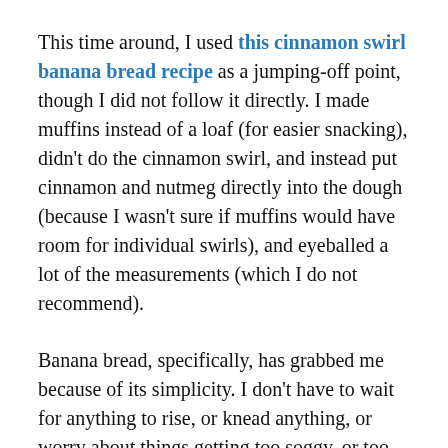This time around, I used this cinnamon swirl banana bread recipe as a jumping-off point, though I did not follow it directly. I made muffins instead of a loaf (for easier snacking), didn't do the cinnamon swirl, and instead put cinnamon and nutmeg directly into the dough (because I wasn't sure if muffins would have room for individual swirls), and eyeballed a lot of the measurements (which I do not recommend).
Banana bread, specifically, has grabbed me because of its simplicity. I don't have to wait for anything to rise, or knead anything, or worry about things getting too soggy, or too tart, or too sweet, or not turning out appetizing. I can whip up a batch with minimal clean-up, too. (I churned these out with just a few utensils and one bowl and one muffin pan – not bad!)